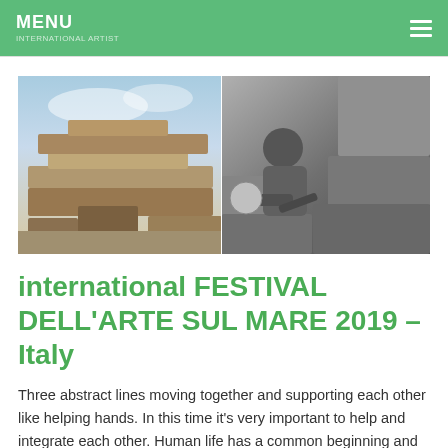MENU
[Figure (photo): Two-panel photo: left panel shows stacked stone sculpture blocks outdoors with blue sky; right panel is black-and-white photo of a person crouching and working on stone sculpture with a tool.]
international FESTIVAL DELL'ARTE SUL MARE 2019 – Italy
Three abstract lines moving together and supporting each other like helping hands. In this time it's very important to help and integrate each other. Human life has a common beginning and common end.